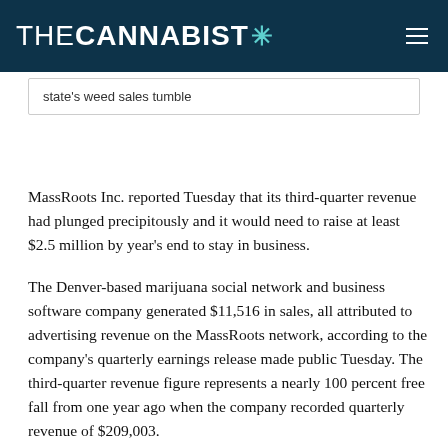THE CANNABIST
state's weed sales tumble
MassRoots Inc. reported Tuesday that its third-quarter revenue had plunged precipitously and it would need to raise at least $2.5 million by year's end to stay in business.
The Denver-based marijuana social network and business software company generated $11,516 in sales, all attributed to advertising revenue on the MassRoots network, according to the company's quarterly earnings release made public Tuesday. The third-quarter revenue figure represents a nearly 100 percent free fall from one year ago when the company recorded quarterly revenue of $209,003.
The report comes less than a month after the ouster of its founder and CEO Isaac Dietrich,